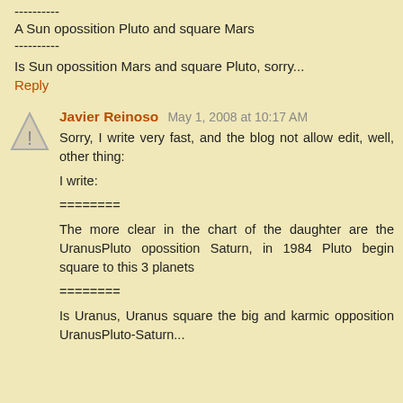----------
A Sun opossition Pluto and square Mars
----------
Is Sun opossition Mars and square Pluto, sorry...
Reply
Javier Reinoso  May 1, 2008 at 10:17 AM
Sorry, I write very fast, and the blog not allow edit, well, other thing:
I write:
========
The more clear in the chart of the daughter are the UranusPluto opossition Saturn, in 1984 Pluto begin square to this 3 planets
========
Is Uranus, Uranus square the big and karmic opposition UranusPluto-Saturn...